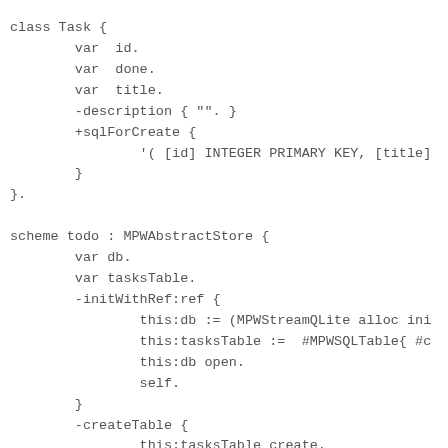class Task {
        var  id.
        var  done.
        var  title.
        -description { "". }
        +sqlForCreate {
                '( [id] INTEGER PRIMARY KEY, [title]
        }
}.

scheme todo : MPWAbstractStore {
        var db.
        var tasksTable.
        -initWithRef:ref {
                this:db := (MPWStreamQLite alloc ini
                this:tasksTable :=  #MPWSQLTable{ #c
                this:db open.
                self.
        }
        -createTable {
                this:tasksTable create.
            this:tasksTable := this:db tables at:'ta
        this:tasksTable createEncoderMethodForClass:
        }
        -createTaskListToInsert:log10ofSize {
                baseList := #( #Task{  #title: 'Clea